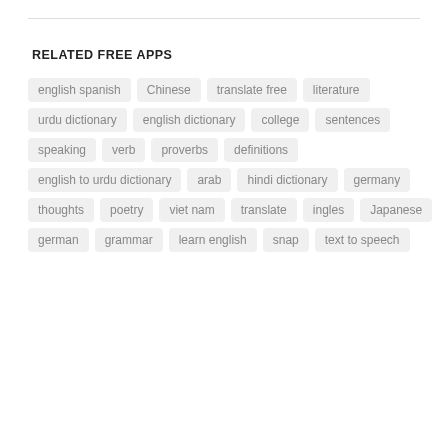RELATED FREE APPS
english spanish
Chinese
translate free
literature
urdu dictionary
english dictionary
college
sentences
speaking
verb
proverbs
definitions
english to urdu dictionary
arab
hindi dictionary
germany
thoughts
poetry
viet nam
translate
ingles
Japanese
german
grammar
learn english
snap
text to speech